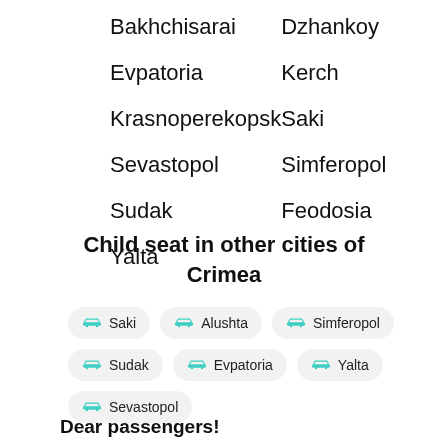Bakhchisarai
Dzhankoy
Evpatoria
Kerch
Krasnoperekopsk
Saki
Sevastopol
Simferopol
Sudak
Feodosia
Yalta
Child seat in other cities of Crimea
Saki
Alushta
Simferopol
Sudak
Evpatoria
Yalta
Sevastopol
Dear passengers!